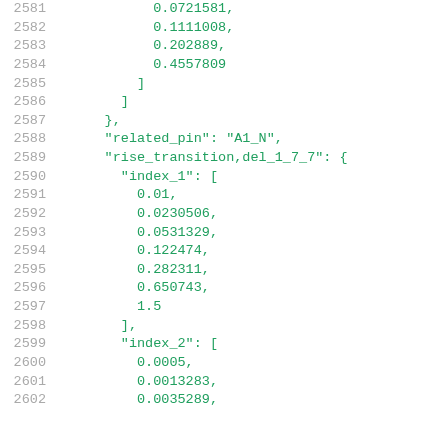2581    0.0721581,
2582    0.1111008,
2583    0.202889,
2584    0.4557809
2585    ]
2586  ]
2587  },
2588  "related_pin": "A1_N",
2589  "rise_transition,del_1_7_7": {
2590    "index_1": [
2591      0.01,
2592      0.0230506,
2593      0.0531329,
2594      0.122474,
2595      0.282311,
2596      0.650743,
2597      1.5
2598    ],
2599    "index_2": [
2600      0.0005,
2601      0.0013283,
2602      0.0035289,